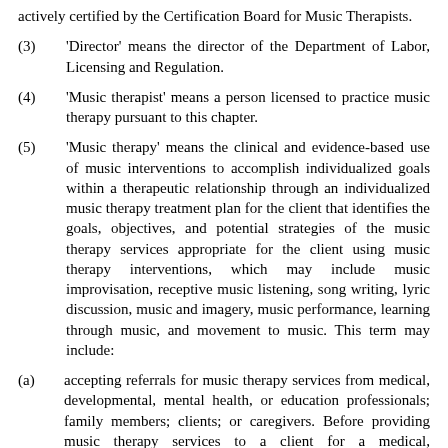actively certified by the Certification Board for Music Therapists.
(3)    'Director' means the director of the Department of Labor, Licensing and Regulation.
(4)    'Music therapist' means a person licensed to practice music therapy pursuant to this chapter.
(5)    'Music therapy' means the clinical and evidence-based use of music interventions to accomplish individualized goals within a therapeutic relationship through an individualized music therapy treatment plan for the client that identifies the goals, objectives, and potential strategies of the music therapy services appropriate for the client using music therapy interventions, which may include music improvisation, receptive music listening, song writing, lyric discussion, music and imagery, music performance, learning through music, and movement to music. This term may include:
(a)    accepting referrals for music therapy services from medical, developmental, mental health, or education professionals; family members; clients; or caregivers. Before providing music therapy services to a client for a medical, developmental, or mental health condition, the licensee shall collaborate, as applicable, with the client's physician, psychologist, or mental health professional to review the client's diagnosis, treatment needs, and treatment plan. During the provision of music therapy services to a client, the